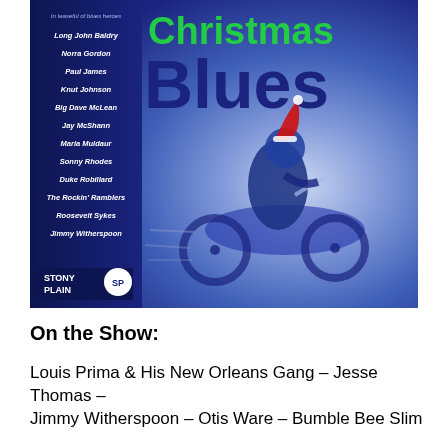[Figure (illustration): Album cover for 'Christmas Blues' on Stony Plain Records. Blue-tinted image of a motorcyclist wearing a Santa hat, with a dark left panel listing artist names: Long John Baldry, Norra Gordon, Paul James, Knut Johnson, Big Dave McLean, Jay McShann, Maria Muldaur, Sonny Rhodes, Duke Robillard, The Rockin' Ramblers, Roosevelt Sykes, Jimmy Witherspoon. Title shows 'Christmas' in green and 'Blues' in dark blue large text.]
On the Show:
Louis Prima & His New Orleans Gang – Jesse Thomas – Jimmy Witherspoon – Otis Ware – Bumble Bee Slim